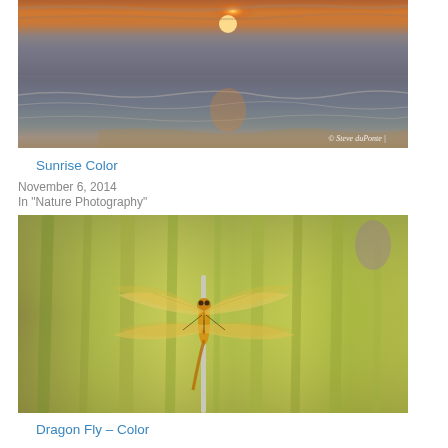[Figure (photo): Sunrise over ocean beach with orange sky and water reflections, watermark '© Steve duPonte |']
Sunrise Color
November 6, 2014
In "Nature Photography"
[Figure (photo): Close-up macro photo of a golden dragonfly perched on a thin stem, with blurred green reeds in background]
Dragon Fly – Color